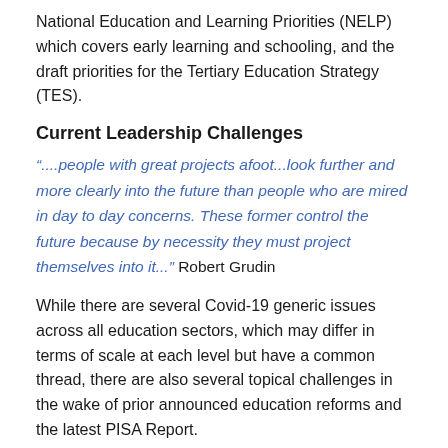National Education and Learning Priorities (NELP) which covers early learning and schooling, and the draft priorities for the Tertiary Education Strategy (TES).
Current Leadership Challenges
“....people with great projects afoot...look further and more clearly into the future than people who are mired in day to day concerns. These former control the future because by necessity they must project themselves into it...” Robert Grudin
While there are several Covid-19 generic issues across all education sectors, which may differ in terms of scale at each level but have a common thread, there are also several topical challenges in the wake of prior announced education reforms and the latest PISA Report.
The decisions education leaders spend the most time on are rarely the most important ones. Not all decisions need the same process. In each learning community identifying at the outset which are most important stops leadership teams being bogged down and stressed out. Tools such